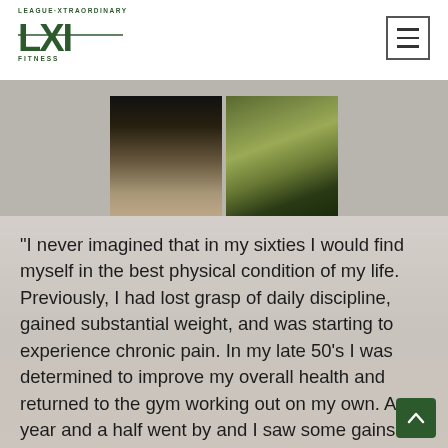League Xtraordinary LXI Fitness — navigation header with logo and hamburger menu
[Figure (photo): Two side-by-side fitness/workout photos partially visible — left shows legs/lower body near pavement, right shows someone holding a bar outdoors]
"I never imagined that in my sixties I would find myself in the best physical condition of my life. Previously, I had lost grasp of daily discipline, gained substantial weight, and was starting to experience chronic pain. In my late 50's I was determined to improve my overall health and returned to the gym working out on my own. A year and a half went by and I saw some gains...